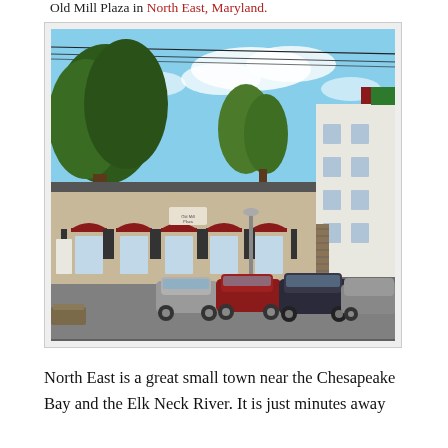Old Mill Plaza in North East, Maryland.
[Figure (photo): Photograph of Old Mill Plaza in North East, Maryland. A small commercial strip plaza with tan/beige siding, dark shutters, and burgundy awnings over storefront windows. A white multi-story building is visible on the right. Trees are visible behind the buildings against a partly cloudy blue sky. Several cars are parked in the foreground parking lot.]
North East is a great small town near the Chesapeake Bay and the Elk Neck River. It is just minutes away